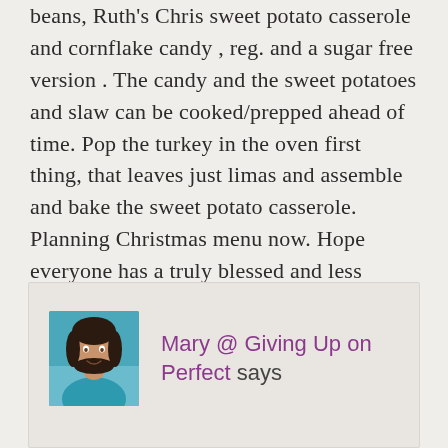beans, Ruth's Chris sweet potato casserole and cornflake candy , reg. and a sugar free version . The candy and the sweet potatoes and slaw can be cooked/prepped ahead of time. Pop the turkey in the oven first thing, that leaves just limas and assemble and bake the sweet potato casserole. Planning Christmas menu now. Hope everyone has a truly blessed and less stressed holiday season.
Mary @ Giving Up on Perfect says
[Figure (photo): Profile photo of a woman with dark hair wearing a teal/blue top, smiling]